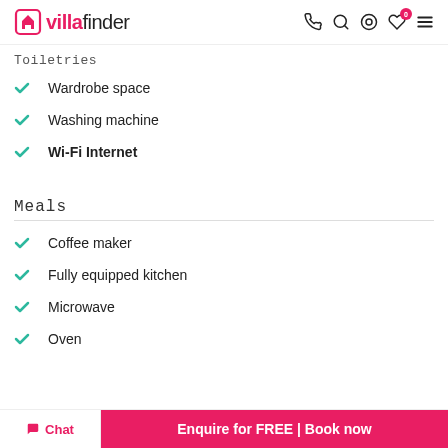villafinder
Toiletries
Wardrobe space
Washing machine
Wi-Fi Internet
Meals
Coffee maker
Fully equipped kitchen
Microwave
Oven
Chat | Enquire for FREE | Book now